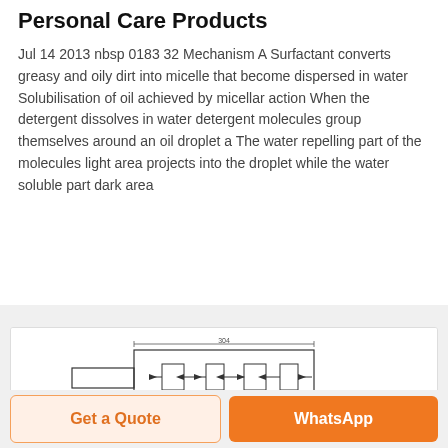Personal Care Products
Jul 14 2013 nbsp 0183 32 Mechanism A Surfactant converts greasy and oily dirt into micelle that become dispersed in water Solubilisation of oil achieved by micellar action When the detergent dissolves in water detergent molecules group themselves around an oil droplet a The water repelling part of the molecules light area projects into the droplet while the water soluble part dark area
[Figure (schematic): Technical engineering diagram showing rectangular mechanical assembly with multiple components and dimension annotations including '304' measurement label.]
Get a Quote
WhatsApp